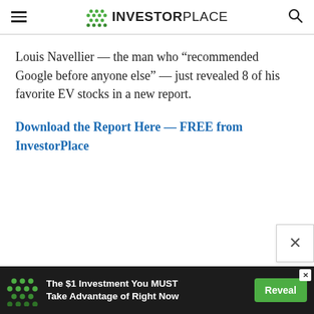INVESTORPLACE
Louis Navellier — the man who “recommended Google before anyone else” — just revealed 8 of his favorite EV stocks in a new report.
Download the Report Here — FREE from InvestorPlace
[Figure (screenshot): Advertisement bar at the bottom: dark background with InvestorPlace green dot logo, text 'The $1 Investment You MUST Take Advantage of Right Now', and a green 'Reveal' button]